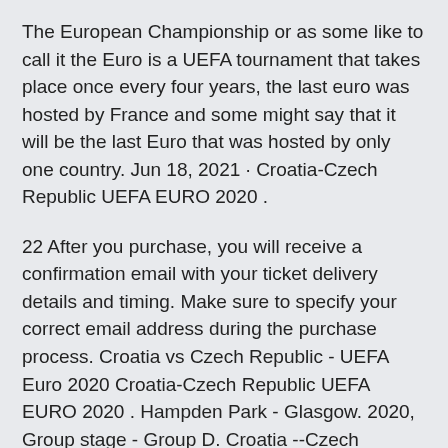The European Championship or as some like to call it the Euro is a UEFA tournament that takes place once every four years, the last euro was hosted by France and some might say that it will be the last Euro that was hosted by only one country. Jun 18, 2021 · Croatia-Czech Republic UEFA EURO 2020 .
22 After you purchase, you will receive a confirmation email with your ticket delivery details and timing. Make sure to specify your correct email address during the purchase process. Croatia vs Czech Republic - UEFA Euro 2020 Croatia-Czech Republic UEFA EURO 2020 . Hampden Park - Glasgow. 2020, Group stage - Group D. Croatia --Czech Republic Menu. Updates Line-ups Stats Group Buy UEFA Euro 2020 Tickets.